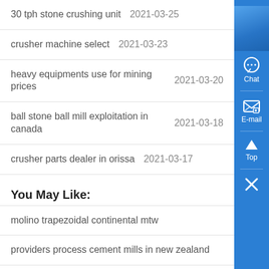30 tph stone crushing unit  2021-03-25
crusher machine select  2021-03-23
heavy equipments use for mining prices  2021-03-20
ball stone ball mill exploitation in canada  2021-03-18
crusher parts dealer in orissa  2021-03-17
You May Like:
molino trapezoidal continental mtw
providers process cement mills in new zealand
rates of puzzolana crushers
zimbabwe copper production